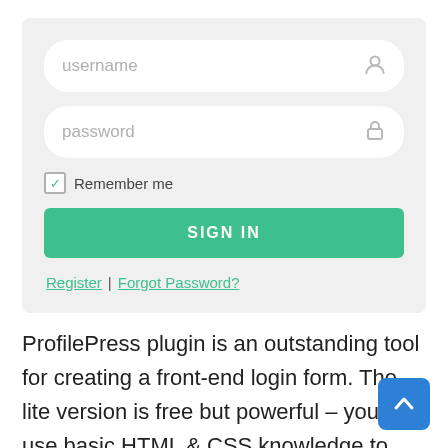[Figure (screenshot): Login form with username field, password field, Remember me checkbox, SIGN IN button, and Register | Forgot Password? links on a light grey background]
ProfilePress plugin is an outstanding tool for creating a front-end login form. The lite version is free but powerful – you can use basic HTML & CSS knowledge to create a sturdy design for your elements. You don't need any advanced skills – ProfilePress will